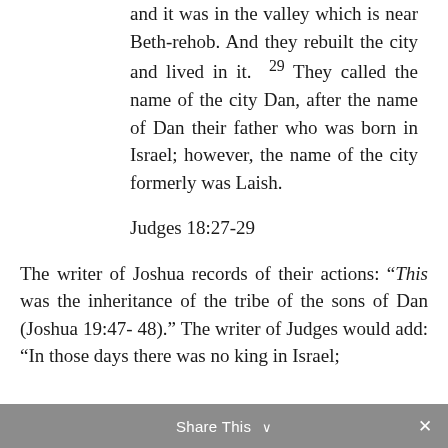and it was in the valley which is near Beth-rehob. And they rebuilt the city and lived in it. 29 They called the name of the city Dan, after the name of Dan their father who was born in Israel; however, the name of the city formerly was Laish.
Judges 18:27-29
The writer of Joshua records of their actions: “This was the inheritance of the tribe of the sons of Dan (Joshua 19:47-48).” The writer of Judges would add: “In those days there was no king in Israel;
Share This